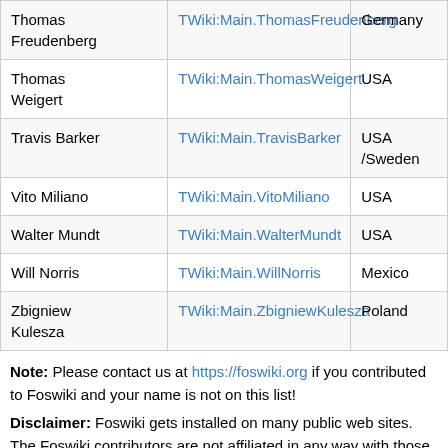| Name | Wiki Username | Country |
| --- | --- | --- |
| Thomas Freudenberg | TWiki:Main.ThomasFreudenberg | Germany |
| Thomas Weigert | TWiki:Main.ThomasWeigert | USA |
| Travis Barker | TWiki:Main.TravisBarker | USA /Sweden |
| Vito Miliano | TWiki:Main.VitoMiliano | USA |
| Walter Mundt | TWiki:Main.WalterMundt | USA |
| Will Norris | TWiki:Main.WillNorris | Mexico |
| Zbigniew Kulesza | TWiki:Main.ZbigniewKulesza | Poland |
Note: Please contact us at https://foswiki.org if you contributed to Foswiki and your name is not on this list!
Disclaimer: Foswiki gets installed on many public web sites. The Foswiki contributors are not affiliated in any way with those sites.